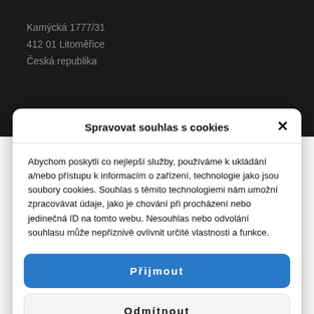Kamýcká 1777/31
412 01 Litoměřice
Česká republika
Spravovat souhlas s cookies
Abychom poskytli co nejlepší služby, používáme k ukládání a/nebo přístupu k informacím o zařízení, technologie jako jsou soubory cookies. Souhlas s těmito technologiemi nám umožní zpracovávat údaje, jako je chování při procházení nebo jedinečná ID na tomto webu. Nesouhlas nebo odvolání souhlasu může nepříznivě ovlivnit určité vlastnosti a funkce.
Přijmout
Odmítnout
Zobrazit předvolby